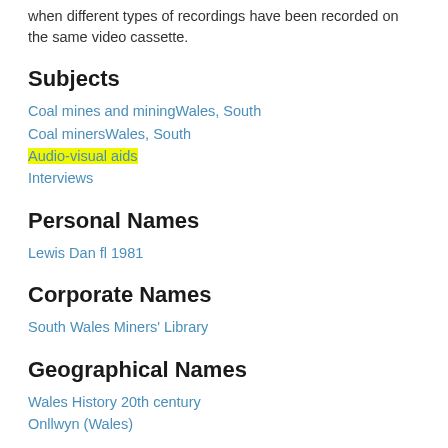when different types of recordings have been recorded on the same video cassette.
Subjects
Coal mines and miningWales, South
Coal minersWales, South
Audio-visual aids
Interviews
Personal Names
Lewis Dan fl 1981
Corporate Names
South Wales Miners' Library
Geographical Names
Wales History 20th century
Onllwyn (Wales)